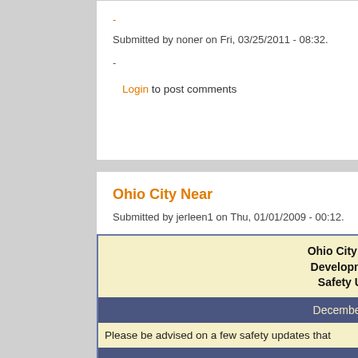-
Submitted by noner on Fri, 03/25/2011 - 08:32.
-
Login to post comments
Ohio City Near
Submitted by jerleen1 on Thu, 01/01/2009 - 00:12.
[Figure (screenshot): Embedded document showing Ohio City Near W... Development Co... Safety Updates header, December 31, 20... date bar, and body text starting with 'Please be advised on a few safety updates that']
Ohio City Near W... Development Co... Safety Updates